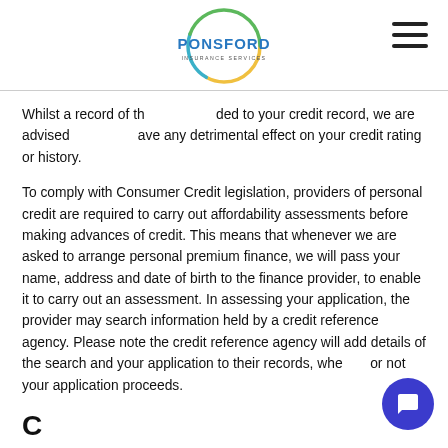Ponsford Insurance Services
Whilst a record of th... ded to your credit record, we are advised... ave any detrimental effect on your credit rating or history.
To comply with Consumer Credit legislation, providers of personal credit are required to carry out affordability assessments before making advances of credit. This means that whenever we are asked to arrange personal premium finance, we will pass your name, address and date of birth to the finance provider, to enable it to carry out an assessment. In assessing your application, the provider may search information held by a credit reference agency. Please note the credit reference agency will add details of the search and your application to their records, whether or not your application proceeds.
C...